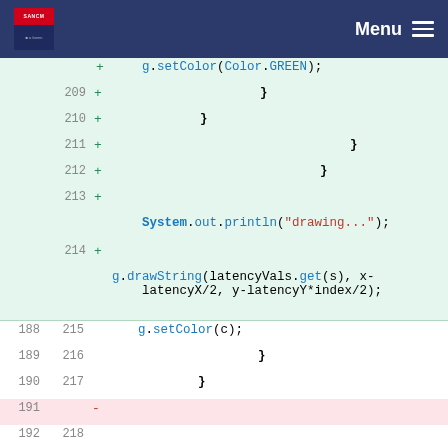Menu
Code diff view showing Java source code lines 209-220 with added and modified lines. Added lines (green background): line 209: }, line 210: }, line 211: }, line 212: }, line 213: System.out.println("drawing...");, line 214: g.drawString(latencyVals.get(s), x-latencyX/2, y-latencyY*index/2);. Normal lines: 188/215: g.setColor(c);, 189/216: }, 190/217: }. Deleted line 191: -. Normal lines 192/218: blank, 193/219: public TGComponent isOnMe(int _x, int _y) {, 194/220: if